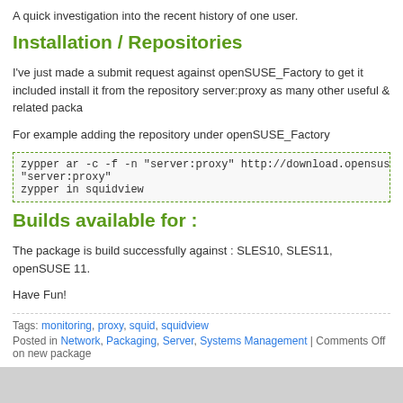A quick investigation into the recent history of one user.
Installation / Repositories
I've just made a submit request against openSUSE_Factory to get it included install it from the repository server:proxy as many other useful & related packa
For example adding the repository under openSUSE_Factory
zypper ar -c -f -n "server:proxy" http://download.opensuse.org/reposit
"server:proxy"
zypper in squidview
Builds available for :
The package is build successfully against : SLES10, SLES11, openSUSE 11.
Have Fun!
Tags: monitoring, proxy, squid, squidview
Posted in Network, Packaging, Server, Systems Management | Comments Off on new package